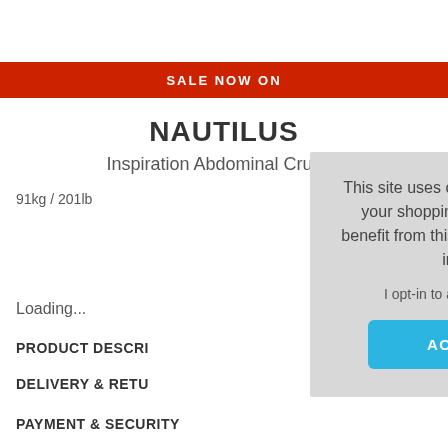SALE NOW ON
NAUTILUS
Inspiration Abdominal Crunch
91kg / 201lb
Loading...
PRODUCT DESCRI
DELIVERY & RETU
PAYMENT & SECURITY
This site uses cookies to provide and improve your shopping experience. If you want to benefit from this improved service, please opt-in. Cookies Page.
I opt-in to a better browsing experience
ACCEPT COOKIES